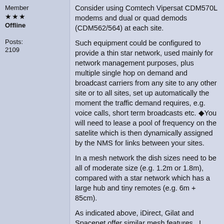Member
★★★
Offline

Posts:
2109
Consider using Comtech Vipersat CDM570L modems and dual or quad demods (CDM562/564) at each site.
Such equipment could be configured to provide a thin star network, used mainly for network management purposes, plus multiple single hop on demand and broadcast carriers from any site to any other site or to all sites, set up automatically the moment the traffic demand requires, e.g. voice calls, short term broadcasts etc. ◆You will need to lease a pool of frequency on the satelite which is then dynamically assigned by the NMS for links between your sites.
In a mesh network the dish sizes need to be all of moderate size (e.g. 1.2m or 1.8m), compared with a star network which has a large hub and tiny remotes (e.g. 6m + 85cm).
As indicated above, iDirect, Gilat and Spacenet offer similar mesh features.  I would be interested to see which best matches your requirements.